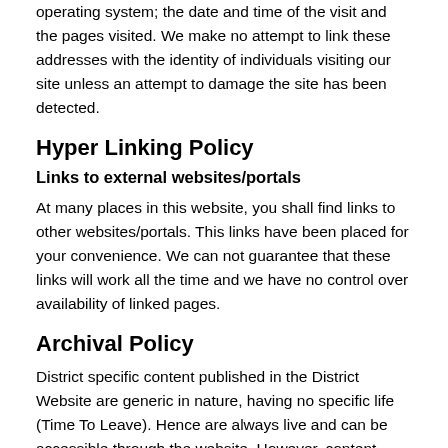operating system; the date and time of the visit and the pages visited. We make no attempt to link these addresses with the identity of individuals visiting our site unless an attempt to damage the site has been detected.
Hyper Linking Policy
Links to external websites/portals
At many places in this website, you shall find links to other websites/portals. This links have been placed for your convenience. We can not guarantee that these links will work all the time and we have no control over availability of linked pages.
Archival Policy
District specific content published in the District Website are generic in nature, having no specific life (Time To Leave). Hence are always live and can be accessible through the website. However, content published under the sections like